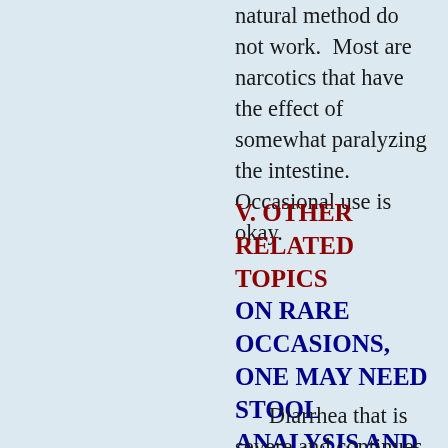natural method do not work.  Most are narcotics that have the effect of somewhat paralyzing the intestine.  Occasional use is okay.
V. OTHER RELATED TOPICS
ON RARE OCCASIONS, ONE MAY NEED STOOL ANALYSIS AND MEDICAL ATTENTION FOR DIARRHEA
Diarrhea that is severe and continues requires